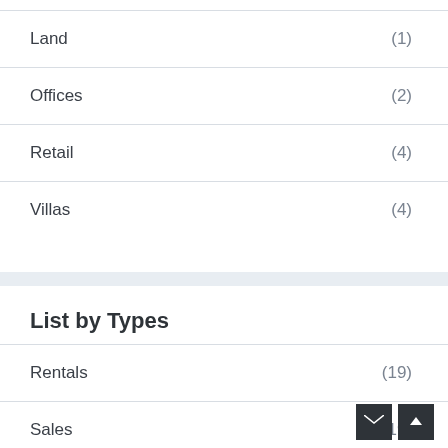Land (1)
Offices (2)
Retail (4)
Villas (4)
List by Types
Rentals (19)
Sales (19)
Invest (4)